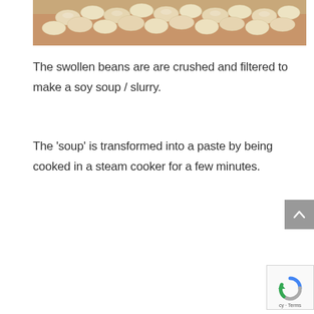[Figure (photo): Close-up photo of swollen/soaked white beans held in hands against a beige/yellow background]
The swollen beans are are crushed and filtered to make a soy soup / slurry.
The 'soup' is transformed into a paste by being cooked in a steam cooker for a few minutes.